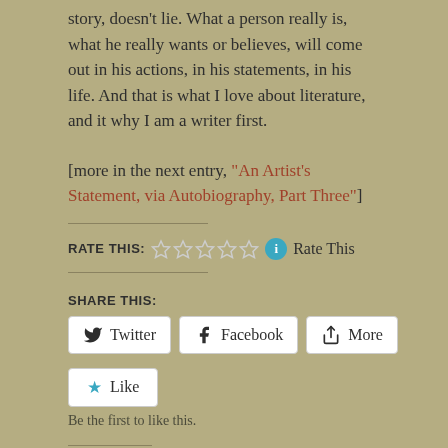story, doesn't lie. What a person really is, what he really wants or believes, will come out in his actions, in his statements, in his life. And that is what I love about literature, and it why I am a writer first.
[more in the next entry, "An Artist's Statement, via Autobiography, Part Three"]
RATE THIS: ★ ★ ★ ★ ★ ℹ Rate This
SHARE THIS:
Twitter  Facebook  More
★ Like
Be the first to like this.
RELATED